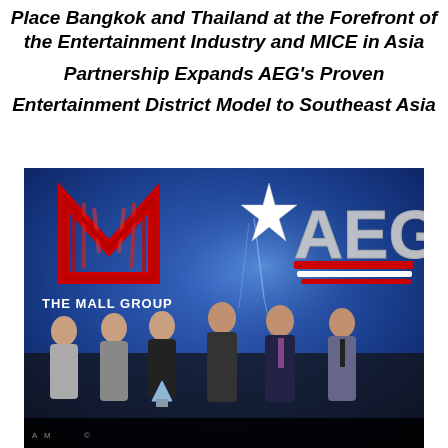Place Bangkok and Thailand at the Forefront of the Entertainment Industry and MICE in Asia Partnership Expands AEG's Proven Entertainment District Model to Southeast Asia
[Figure (photo): Group photo of six people in formal attire standing in front of a backdrop showing 'The Mall Group' and 'AEG' logos on a blue starfield background. The person in the center is holding a crystal award trophy. Three people appear to be of Asian descent on the left and three appear Western on the right.]